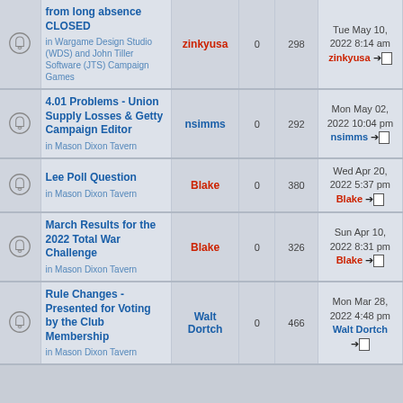|  | Topic | Author | Replies | Views | Last Post |
| --- | --- | --- | --- | --- | --- |
| [icon] | from long absence CLOSED
in Wargame Design Studio (WDS) and John Tiller Software (JTS) Campaign Games | zinkyusa | 0 | 298 | Tue May 10, 2022 8:14 am
zinkyusa → |
| [icon] | 4.01 Problems - Union Supply Losses & Getty Campaign Editor
in Mason Dixon Tavern | nsimms | 0 | 292 | Mon May 02, 2022 10:04 pm
nsimms → |
| [icon] | Lee Poll Question
in Mason Dixon Tavern | Blake | 0 | 380 | Wed Apr 20, 2022 5:37 pm
Blake → |
| [icon] | March Results for the 2022 Total War Challenge
in Mason Dixon Tavern | Blake | 0 | 326 | Sun Apr 10, 2022 8:31 pm
Blake → |
| [icon] | Rule Changes - Presented for Voting by the Club Membership
in Mason Dixon Tavern | Walt Dortch | 0 | 466 | Mon Mar 28, 2022 4:48 pm
Walt Dortch → |